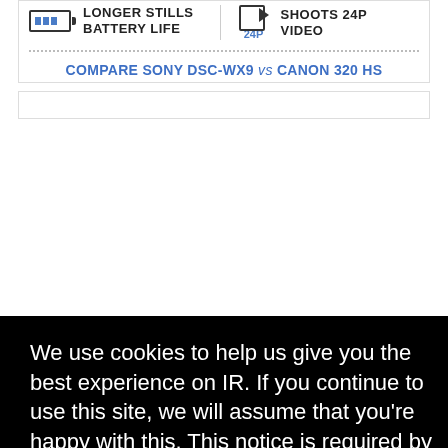[Figure (infographic): Battery icon with blue bars indicating longer stills battery life]
LONGER STILLS BATTERY LIFE
[Figure (infographic): Video camera icon with 24P label indicating shoots 24p video]
SHOOTS 24P VIDEO
COMPARE SONY DSC-WX9 vs CANON 320 HS
We use cookies to help us give you the best experience on IR. If you continue to use this site, we will assume that you're happy with this. This notice is required by recent EU rules, and IR is read globally, so we need to keep the bureaucrats off our case!
Learn more
Got it!
[Figure (photo): Partial view of a Canon 320 HS camera in black]
MORE TELEPHOTO
LARGER LENS